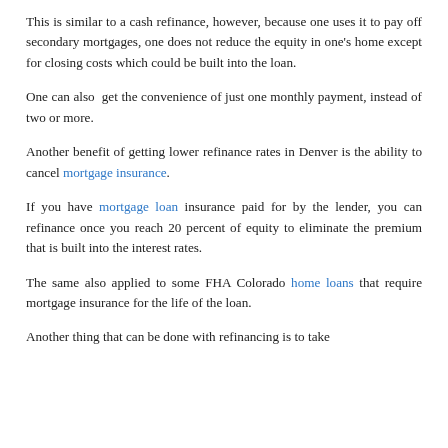This is similar to a cash refinance, however, because one uses it to pay off secondary mortgages, one does not reduce the equity in one's home except for closing costs which could be built into the loan.
One can also get the convenience of just one monthly payment, instead of two or more.
Another benefit of getting lower refinance rates in Denver is the ability to cancel mortgage insurance.
If you have mortgage loan insurance paid for by the lender, you can refinance once you reach 20 percent of equity to eliminate the premium that is built into the interest rates.
The same also applied to some FHA Colorado home loans that require mortgage insurance for the life of the loan.
Another thing that can be done with refinancing is to take